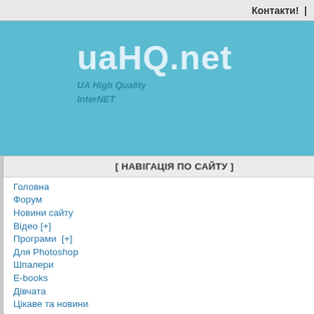Контакти! |
uaHQ.net
UA High Quality InterNET
[ НАВІГАЦІЯ ПО САЙТУ ]
Головна
Форум
Новини сайту
Відео [+]
Програми  [+]
Для Photoshop
Шпалери
E-books
Дівчата
Цікаве та новини
Android  [+]
iPhone (iOS)  [+]
Мобільний [+]
Ігри [+]
Музика [+]
Інше
Калькулятор
Calibre 0.8.70
Програми
[Figure (screenshot): Calibre software box art showing the Calibre logo with colorful book spines icon and text 'calibre' on a dark background, alongside a stacked books illustration]